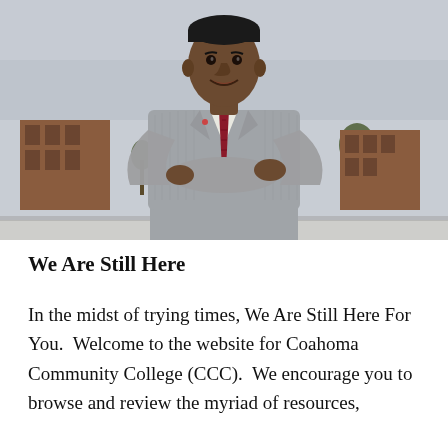[Figure (photo): A man in a grey plaid blazer and dark red tie stands with arms crossed, smiling, in front of a brick building and water tower on a college campus on an overcast day.]
We Are Still Here
In the midst of trying times, We Are Still Here For You.  Welcome to the website for Coahoma Community College (CCC).  We encourage you to browse and review the myriad of resources,